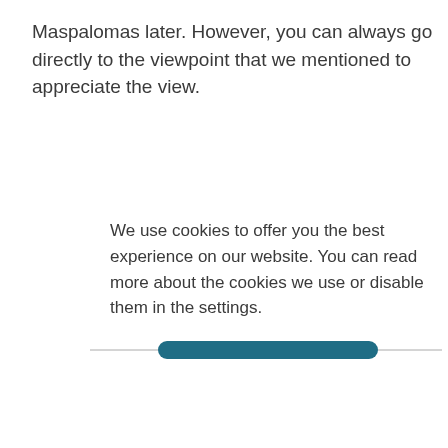Maspalomas later. However, you can always go directly to the viewpoint that we mentioned to appreciate the view.
We use cookies to offer you the best experience on our website. You can read more about the cookies we use or disable them in the settings.